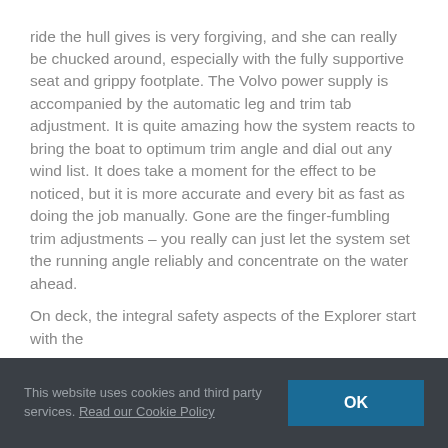ride the hull gives is very forgiving, and she can really be chucked around, especially with the fully supportive seat and grippy footplate. The Volvo power supply is accompanied by the automatic leg and trim tab adjustment. It is quite amazing how the system reacts to bring the boat to optimum trim angle and dial out any wind list. It does take a moment for the effect to be noticed, but it is more accurate and every bit as fast as doing the job manually. Gone are the finger-fumbling trim adjustments – you really can just let the system set the running angle reliably and concentrate on the water ahead.
On deck, the integral safety aspects of the Explorer start with the
This website uses cookies and third party services. Read our Cookie Policy